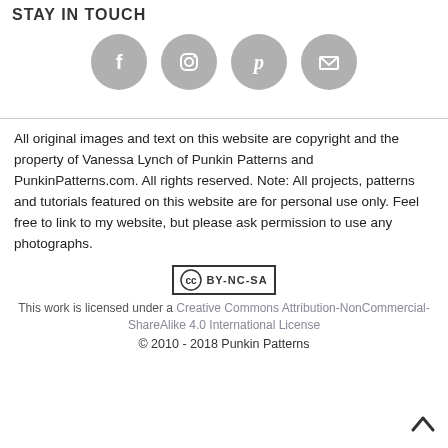STAY IN TOUCH
[Figure (illustration): Four gray circular social media icons: Facebook, Instagram, Pinterest, and Email/Envelope]
All original images and text on this website are copyright and the property of Vanessa Lynch of Punkin Patterns and PunkinPatterns.com. All rights reserved. Note: All projects, patterns and tutorials featured on this website are for personal use only. Feel free to link to my website, but please ask permission to use any photographs.
[Figure (logo): Creative Commons CC BY-NC-SA badge/logo]
This work is licensed under a Creative Commons Attribution-NonCommercial-ShareAlike 4.0 International License
© 2010 - 2018 Punkin Patterns